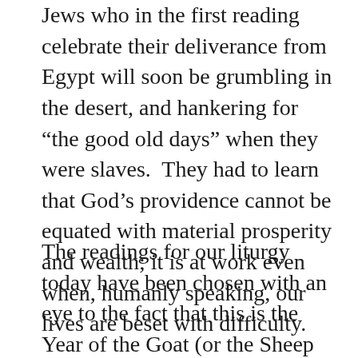Jews who in the first reading celebrate their deliverance from Egypt will soon be grumbling in the desert, and hankering for “the good old days” when they were slaves. They had to learn that God’s providence cannot be equated with material prosperity and wealth; it is at work even when, humanly speaking, our lives are beset with difficulty.
The readings for our liturgy today have been chosen with an eye to the fact that this is the Year of the Goat (or the Sheep or Ram, according to different interpretations of the Chinese word). And so the Church sets before us the consoling figure of Jesus, the Good Shepherd. The Lord explains very vividly the difference between a good shepherd and a